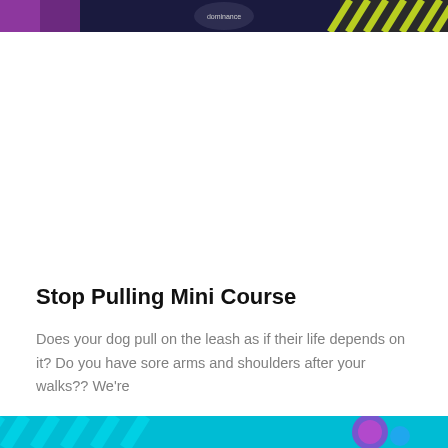[Figure (photo): Top banner image showing a dog training scene with purple and yellow-green striped design elements on dark background]
Stop Pulling Mini Course
Does your dog pull on the leash as if their life depends on it? Do you have sore arms and shoulders after your walks?? We're
Read More
[Figure (photo): Bottom banner image with teal/cyan striped design elements and colorful circular graphic]